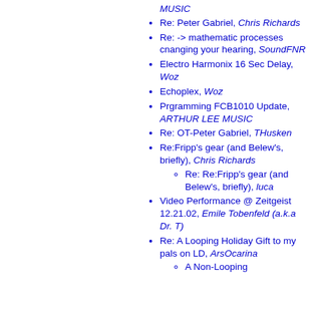MUSIC
Re: Peter Gabriel, Chris Richards
Re: -> mathematic processes cnanging your hearing, SoundFNR
Electro Harmonix 16 Sec Delay, Woz
Echoplex, Woz
Prgramming FCB1010 Update, ARTHUR LEE MUSIC
Re: OT-Peter Gabriel, THusken
Re:Fripp's gear (and Belew's, briefly), Chris Richards
Re: Re:Fripp's gear (and Belew's, briefly), luca
Video Performance @ Zeitgeist 12.21.02, Emile Tobenfeld (a.k.a Dr. T)
Re: A Looping Holiday Gift to my pals on LD, ArsOcarina
A Non-Looping